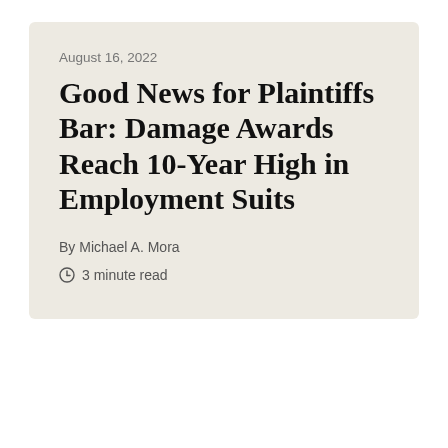August 16, 2022
Good News for Plaintiffs Bar: Damage Awards Reach 10-Year High in Employment Suits
By Michael A. Mora
3 minute read